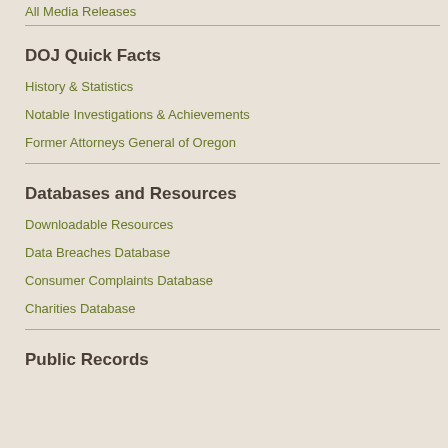All Media Releases
DOJ Quick Facts
History & Statistics
Notable Investigations & Achievements
Former Attorneys General of Oregon
Databases and Resources
Downloadable Resources
Data Breaches Database
Consumer Complaints Database
Charities Database
Public Records